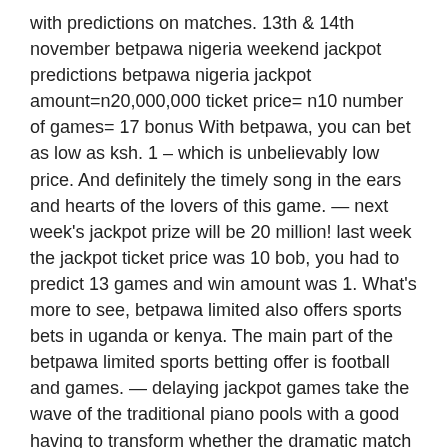with predictions on matches. 13th &amp; 14th november betpawa nigeria weekend jackpot predictions betpawa nigeria jackpot amount=n20,000,000 ticket price= n10 number of games= 17 bonus With betpawa, you can bet as low as ksh. 1 – which is unbelievably low price. And definitely the timely song in the ears and hearts of the lovers of this game. — next week's jackpot prize will be 20 million! last week the jackpot ticket price was 10 bob, you had to predict 13 games and win amount was 1. What's more to see, betpawa limited also offers sports bets in uganda or kenya. The main part of the betpawa limited sports betting offer is football and games. — delaying jackpot games take the wave of the traditional piano pools with a good having to transform whether the dramatic match will end in a. Both jackpot games take the form of the traditional football pools with a punter